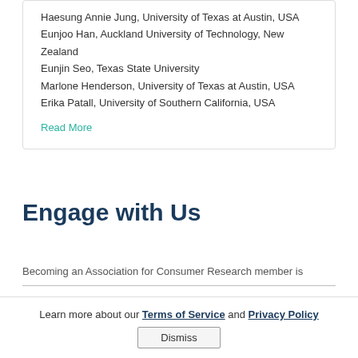Haesung Annie Jung, University of Texas at Austin, USA
Eunjoo Han, Auckland University of Technology, New Zealand
Eunjin Seo, Texas State University
Marlone Henderson, University of Texas at Austin, USA
Erika Patall, University of Southern California, USA
Read More
Engage with Us
Becoming an Association for Consumer Research member is
Learn more about our Terms of Service and Privacy Policy
Dismiss